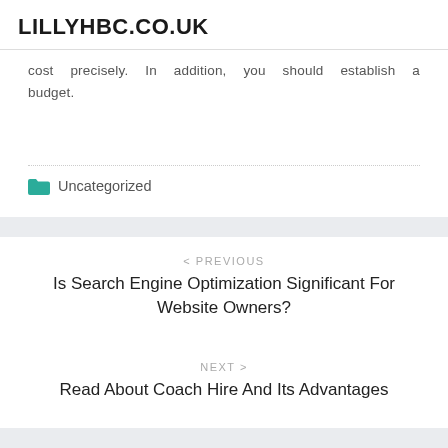LILLYHBC.CO.UK
cost precisely. In addition, you should establish a budget.
Uncategorized
< PREVIOUS
Is Search Engine Optimization Significant For Website Owners?
NEXT >
Read About Coach Hire And Its Advantages